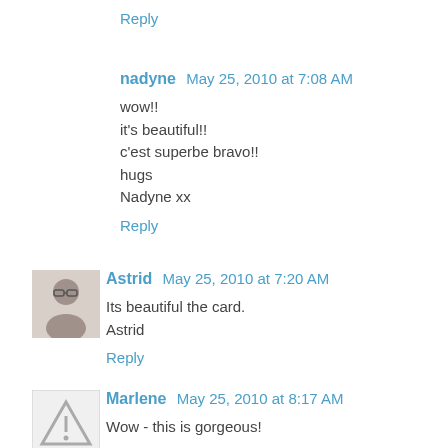Reply
nadyne  May 25, 2010 at 7:08 AM
wow!!
it's beautiful!!
c'est superbe bravo!!
hugs
Nadyne xx
Reply
Astrid  May 25, 2010 at 7:20 AM
Its beautiful the card.
Astrid
Reply
Marlene  May 25, 2010 at 8:17 AM
Wow - this is gorgeous!